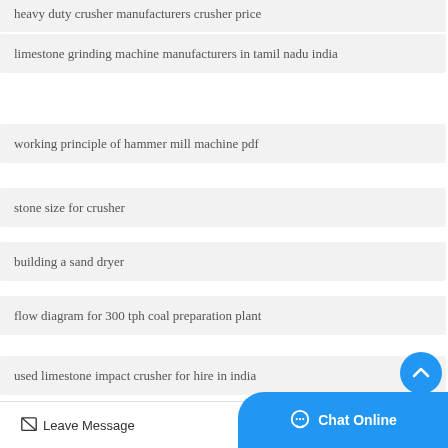heavy duty crusher manufacturers crusher price
limestone grinding machine manufacturers in tamil nadu india
working principle of hammer mill machine pdf
stone size for crusher
building a sand dryer
flow diagram for 300 tph coal preparation plant
used limestone impact crusher for hire in india
Leave Message   Chat Online